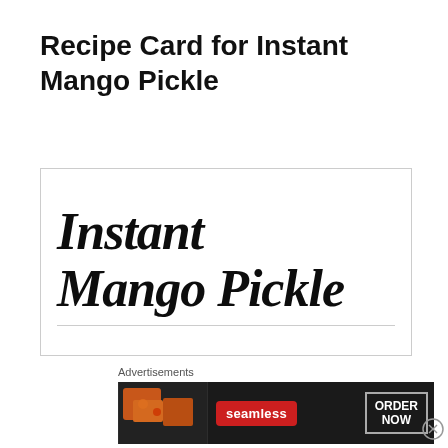Recipe Card for Instant Mango Pickle
[Figure (illustration): Recipe card image with cursive/script text reading 'Instant Mango Pickle' in large bold italic lettering inside a rectangular bordered card]
Advertisements
[Figure (infographic): Seamless food delivery advertisement banner showing pizza image on the left, Seamless red logo badge in the center, and 'ORDER NOW' button on the right, on a dark background]